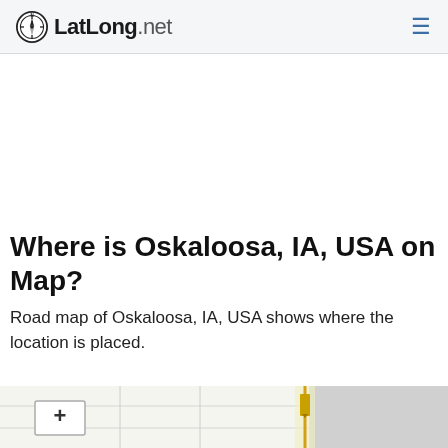LatLong.net
Where is Oskaloosa, IA, USA on Map?
Road map of Oskaloosa, IA, USA shows where the location is placed.
[Figure (map): Partial road map of Oskaloosa, IA, USA showing street grid with a zoom-in (+) button in the upper left corner and a highlighted marker area in the center.]